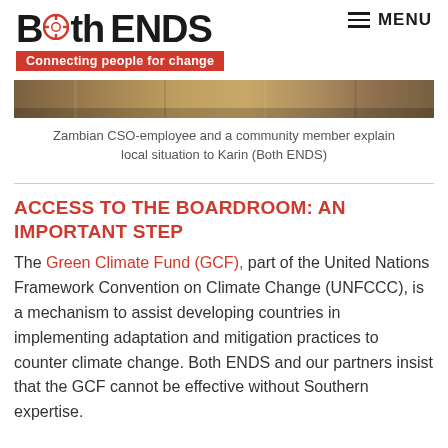Both ENDS — Connecting people for change / MENU
[Figure (photo): Horizontal photo strip showing outdoor scene with community members, earthy brown and tan tones.]
Zambian CSO-employee and a community member explain local situation to Karin (Both ENDS)
ACCESS TO THE BOARDROOM: AN IMPORTANT STEP
The Green Climate Fund (GCF), part of the United Nations Framework Convention on Climate Change (UNFCCC), is a mechanism to assist developing countries in implementing adaptation and mitigation practices to counter climate change. Both ENDS and our partners insist that the GCF cannot be effective without Southern expertise.